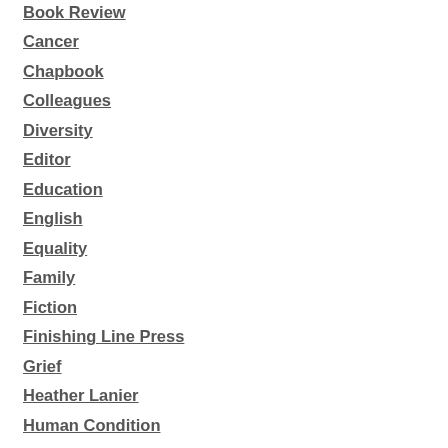Book Review
Cancer
Chapbook
Colleagues
Diversity
Editor
Education
English
Equality
Family
Fiction
Finishing Line Press
Grief
Heather Lanier
Human Condition
Identity
Literary Magazine
Literature